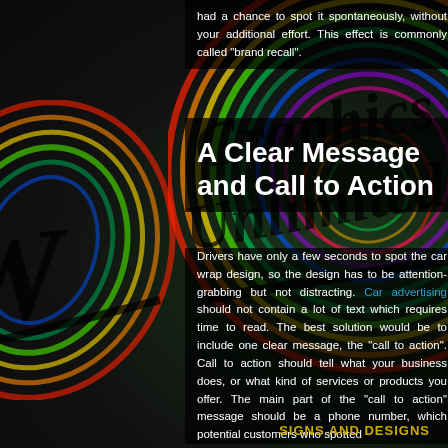had a chance to spot it spontaneously, without your additional effort. This effect is commonly called “brand recall”.
A Clear Message and Call to Action
Drivers have only a few seconds to spot the car wrap design, so the design has to be attention-grabbing but not distracting. Car advertising should not contain a lot of text which requires time to read. The best solution would be to include one clear message, the “call to action”. Call to action should tell what your business does, or what kind of services or products you offer. The main part of the “call to action” message should be a phone number, which potential customers who spotted
[Figure (illustration): Colorful swirling graphic with rainbow arcs and stylized cursive text overlay on dark background, resembling a car wrap or graphic design advertisement background]